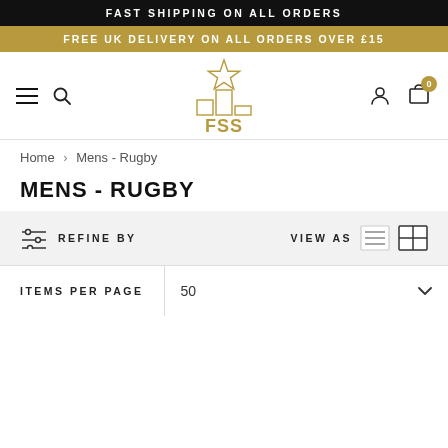FAST SHIPPING ON ALL ORDERS
FREE UK DELIVERY ON ALL ORDERS OVER £15
[Figure (logo): FSS logo with podium/bar chart icon and star, gold color]
Home > Mens - Rugby
MENS - RUGBY
REFINE BY   VIEW AS
ITEMS PER PAGE  50